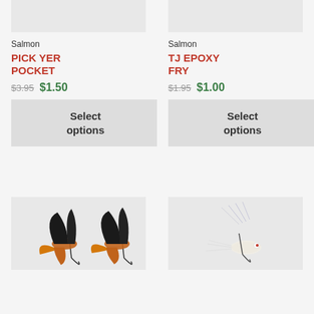[Figure (photo): Partial product image top-left (cropped fly fishing lure)]
Salmon
PICK YER POCKET
$3.95  $1.50
Select options
[Figure (photo): Partial product image top-right (cropped fly fishing lure)]
Salmon
TJ EPOXY FRY
$1.95  $1.00
Select options
[Figure (photo): Fly fishing lure - orange and black feathered salmon fly on white background]
[Figure (photo): Fly fishing lure - white/silver epoxy fry fly with long fibers on white background]